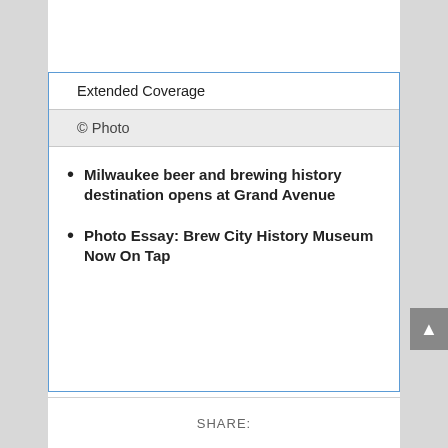Extended Coverage
© Photo
Milwaukee beer and brewing history destination opens at Grand Avenue
Photo Essay: Brew City History Museum Now On Tap
SHARE: